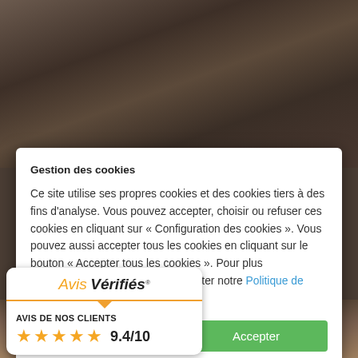[Figure (screenshot): Background photo of an interior staircase and brick wall, dark brownish tones]
Gestion des cookies
Ce site utilise ses propres cookies et des cookies tiers à des fins d'analyse. Vous pouvez accepter, choisir ou refuser ces cookies en cliquant sur « Configuration des cookies ». Vous pouvez aussi accepter tous les cookies en cliquant sur le bouton « Accepter tous les cookies ». Pour plus d'informations, vous pouvez consulter notre Politique de confidentialité.
Personnaliser
Accepter
[Figure (logo): Avis Vérifiés widget showing AVIS DE NOS CLIENTS rating of 9.4/10 with 5 stars]